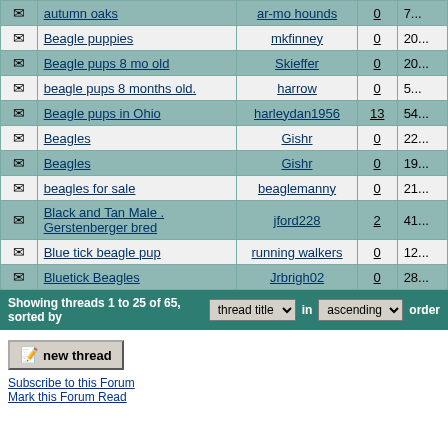|  | Thread Title | Author | Replies | Date |
| --- | --- | --- | --- | --- |
| ✉ | autumn oaks | ar-mo hounds | 0 | 7... |
| ✉ | Beagle puppies | mkfinney | 0 | 20... |
| ✉ | Beagle pups 8 mo old | Skieffer | 0 | 20... |
| ✉ | beagle pups 8 months old. | harrow | 0 | 5... |
| ✉ | Beagle pups in Ohio | harleydan1956 | 13 | 54... |
| ✉ | Beagles | Gishr | 0 | 22... |
| ✉ | Beagles | Gishr | 0 | 19... |
| ✉ | beagles for sale | beaglemanny | 0 | 21... |
| ✉ | Black and Tan Male . Gerstenberger bred | jford228 | 2 | 41... |
| ✉ | Blue tick beagle pup | running walkers | 0 | 12... |
| ✉ | Bluetick Beagles | Jrbrigh02 | 0 | 28... |
Showing threads 1 to 25 of 65, sorted by thread title in ascending order
new thread
Subscribe to this Forum
Mark this Forum Read